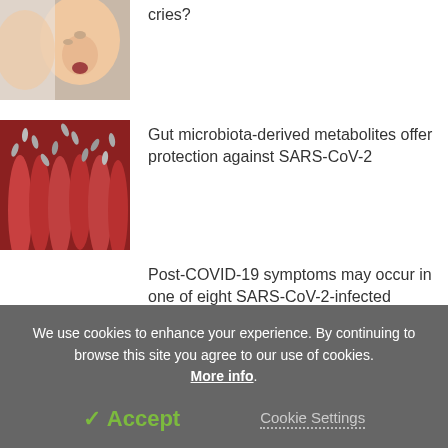[Figure (photo): Crying baby closeup, partially cropped at top]
cries?
[Figure (photo): Gut microbiota illustration showing intestinal villi with bacteria]
Gut microbiota-derived metabolites offer protection against SARS-CoV-2
Post-COVID-19 symptoms may occur in one of eight SARS-CoV-2-infected individuals
We use cookies to enhance your experience. By continuing to browse this site you agree to our use of cookies. More info.
✓ Accept
Cookie Settings